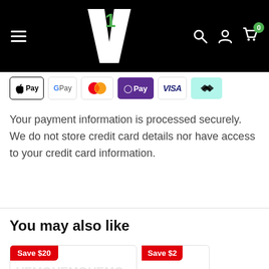[Figure (logo): Black header navigation bar with hamburger menu, V1 logo (white V with green 1), search icon, account icon, and cart icon with badge 0]
[Figure (infographic): Payment method icons: Apple Pay, Google Pay, Mastercard, O Pay, Visa, Afterpay]
Your payment information is processed securely. We do not store credit card details nor have access to your credit card information.
You may also like
[Figure (photo): Product card with 'Save $20' badge and VEMO watermark logos in background]
[Figure (photo): Product card with 'Save $2' badge, partially visible, with orange element at bottom right]